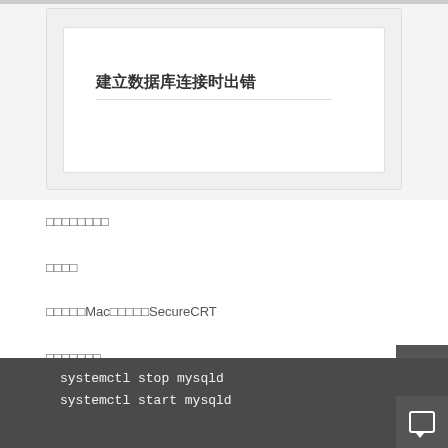建立数据库连接时出错
□□□□□□□□
□□□□
□□□□□Mac□□□□□SecureCRT
□□□□□□□
□□□□□crifan.com□□□□□□□□□□□□□□□
□□mysql□□□
systemctl stop mysqld
systemctl start mysqld